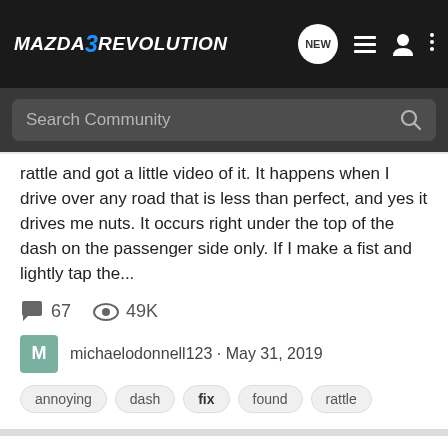[Figure (logo): Mazda3Revolution logo with blue '3' on dark navbar]
Search Community
rattle and got a little video of it. It happens when I drive over any road that is less than perfect, and yes it drives me nuts. It occurs right under the top of the dash on the passenger side only. If I make a fist and lightly tap the...
67   49K
michaelodonnell123 · May 31, 2019
annoying
dash
fix
found
rattle
First post, hoping to fix of my Wife's car.
2004-2009 Mazda3 Discussion
Hello everyone, I know it's generally bad manners to come fresh onto a forum and start asking questions, so I've done a bit of research trying to find previous topics on the subject